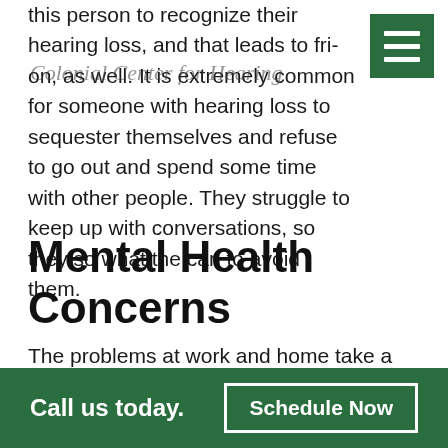this person to recognize their hearing loss, and that leads to fri on, as well. It is extremely common for someone with hearing loss to sequester themselves and refuse to go out and spend some time with other people. They struggle to keep up with conversations, so they so what the can to avoid them.
[Figure (logo): Colonial Center for Hearing cursive logo watermark]
Mental Health Concerns
The problems at work and home take a toll on mental health over time. A 2014 study performed by the U.S. National Institute on Deafness and Other Communication Disorders found a cause
Call us today.  Schedule Now